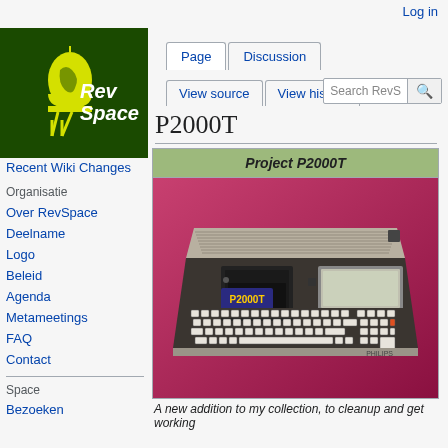Log in
[Figure (logo): RevSpace wiki logo — yellow LED/resistor icon on dark green background with 'RevSpace' text in white]
Page  Discussion  View source  View history
P2000T
Recent Wiki Changes
Organisatie
Over RevSpace
Deelname
Logo
Beleid
Agenda
Metameetings
FAQ
Contact
Space
Bezoeken
| Project P2000T |
| --- |
[Figure (photo): Philips P2000T vintage home computer with keyboard and tape unit on a pink/magenta background]
A new addition to my collection, to cleanup and get working